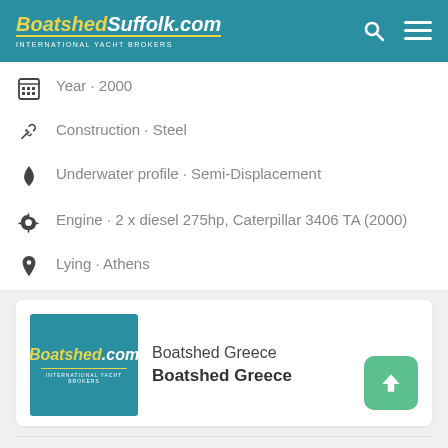BoatshedSuffolk.com INTERNATIONAL YACHT BROKERS
Year · 2000
Construction · Steel
Underwater profile · Semi-Displacement
Engine · 2 x diesel 275hp, Caterpillar 3406 TA (2000)
Lying · Athens
[Figure (logo): Boatshed.com International Yacht Brokers logo on teal background]
Boatshed Greece
Boatshed Greece